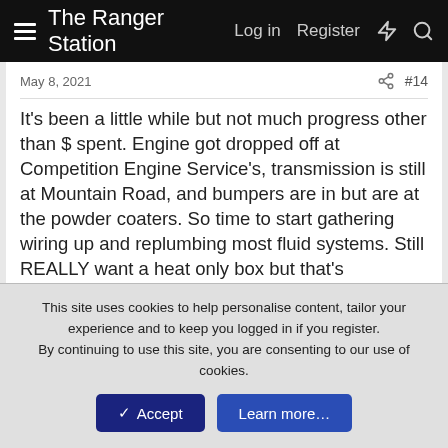The Ranger Station  Log in  Register
May 8, 2021  #14
It's been a little while but not much progress other than $ spent. Engine got dropped off at Competition Engine Service's, transmission is still at Mountain Road, and bumpers are in but are at the powder coaters. So time to start gathering wiring up and replumbing most fluid systems. Still REALLY want a heat only box but that's apparently not going to happen... Anyone have one willing to pay $$ and pay shipping. As far as the rest of the truck just need to get myself in gear and make progress.. here's a few photos of where I am now.
[Figure (photo): Workshop/garage photo showing vehicle parts including what appears to be a blue cloth, metal components, wooden floor, and tools on a red toolbox shelf]
This site uses cookies to help personalise content, tailor your experience and to keep you logged in if you register.
By continuing to use this site, you are consenting to our use of cookies.